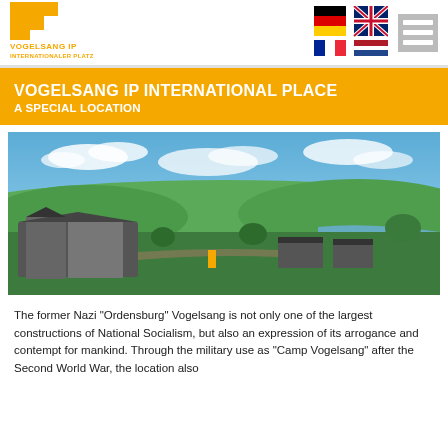[Figure (logo): Vogelsang IP Internationaler Platz logo with orange/yellow icon and text]
[Figure (other): German, UK, French, and Dutch flag icons for language selection]
[Figure (other): Hamburger menu icon (three horizontal lines on grey background)]
VOGELSANG IP INTERNATIONAL PLACE
A SPECIAL LOCATION
[Figure (photo): Aerial panoramic photo of Vogelsang IP site showing buildings, green landscape, forests, a river, and blue sky with clouds]
The former Nazi "Ordensburg" Vogelsang is not only one of the largest constructions of National Socialism, but also an expression of its arrogance and contempt for mankind. Through the military use as "Camp Vogelsang" after the Second World War, the location also